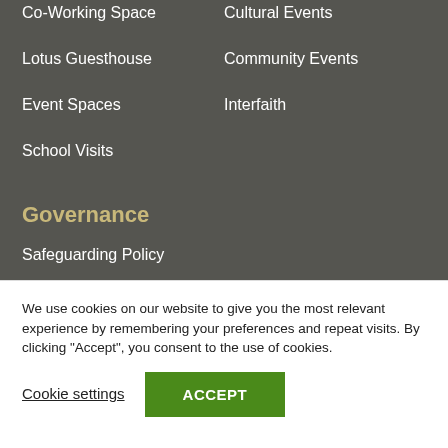Co-Working Space
Cultural Events
Lotus Guesthouse
Community Events
Event Spaces
Interfaith
School Visits
Governance
Safeguarding Policy
We use cookies on our website to give you the most relevant experience by remembering your preferences and repeat visits. By clicking “Accept”, you consent to the use of cookies.
Cookie settings
ACCEPT